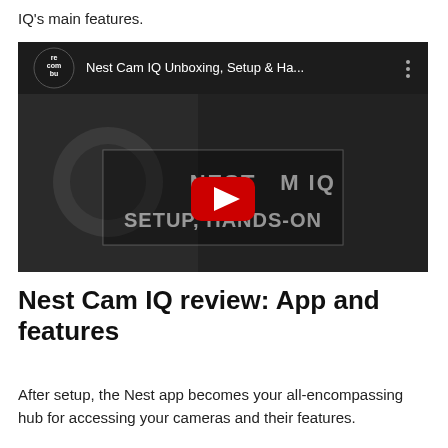IQ's main features.
[Figure (screenshot): YouTube video thumbnail showing 'Nest Cam IQ Unboxing, Setup & Ha...' with a play button overlay and text 'NEST CAM IQ SETUP, HANDS-ON' visible on the video frame. Channel logo shows 'recombu' in the top left corner.]
Nest Cam IQ review: App and features
After setup, the Nest app becomes your all-encompassing hub for accessing your cameras and their features.